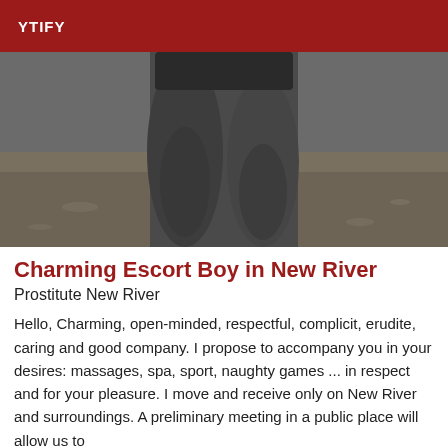YTIFY
[Figure (photo): Black and white photograph of a muscular man's lower body wearing swim briefs, standing on a sandy beach.]
Charming Escort Boy in New River
Prostitute New River
Hello, Charming, open-minded, respectful, complicit, erudite, caring and good company. I propose to accompany you in your desires: massages, spa, sport, naughty games ... in respect and for your pleasure. I move and receive only on New River and surroundings. A preliminary meeting in a public place will allow us to